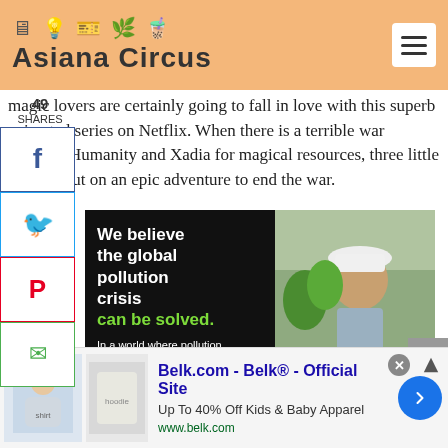Asiana Circus
magic lovers are certainly going to fall in love with this superb animated series on Netflix. When there is a terrible war between Humanity and Xadia for magical resources, three little kids set out on an epic adventure to end the war.
[Figure (screenshot): Advertisement: black panel with text 'We believe the global pollution crisis can be solved. In a world where pollution doesn't stop at borders, we...' alongside a photo of a person in a white hard hat near green plants]
[Figure (screenshot): Advertisement for Belk.com - Belk® - Official Site. Up To 40% Off Kids & Baby Apparel. www.belk.com. Shows children's clothing images and a navigation arrow button.]